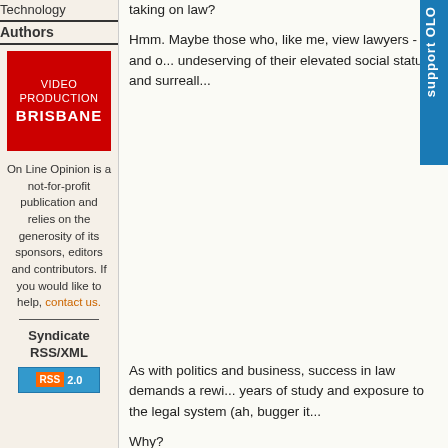Technology
Authors
[Figure (illustration): Red advertisement box for Video Production Brisbane]
On Line Opinion is a not-for-profit publication and relies on the generosity of its sponsors, editors and contributors. If you would like to help, contact us.
Syndicate RSS/XML
[Figure (logo): RSS 2.0 badge]
taking on law?
Hmm. Maybe those who, like me, view lawyers - and o... undeserving of their elevated social status and surreall...
As with politics and business, success in law demands a rewi... years of study and exposure to the legal system (ah, bugger it...
Why?
Because successful legal practice is not about serving justice,... where a settlement favourable to lawyer and client, in that or...